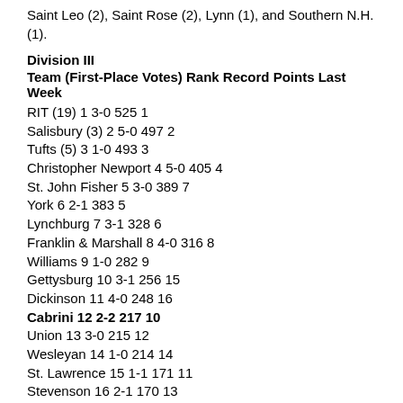Saint Leo (2), Saint Rose (2), Lynn (1), and Southern N.H. (1).
Division III
Team (First-Place Votes) Rank Record Points Last Week
RIT (19) 1 3-0 525 1
Salisbury (3) 2 5-0 497 2
Tufts (5) 3 1-0 493 3
Christopher Newport 4 5-0 405 4
St. John Fisher 5 3-0 389 7
York 6 2-1 383 5
Lynchburg 7 3-1 328 6
Franklin & Marshall 8 4-0 316 8
Williams 9 1-0 282 9
Gettysburg 10 3-1 256 15
Dickinson 11 4-0 248 16
Cabrini 12 2-2 217 10
Union 13 3-0 215 12
Wesleyan 14 1-0 214 14
St. Lawrence 15 1-1 171 11
Stevenson 16 2-1 170 13
Denison 17 3-0 138 18
Amherst 18 1-0 82 19
Ursinus 19 2-1 47 N/R
Stevens 20 2-3 25 20
Also receiving votes: Illinois Wesleyan (24), Rensselaer (23),